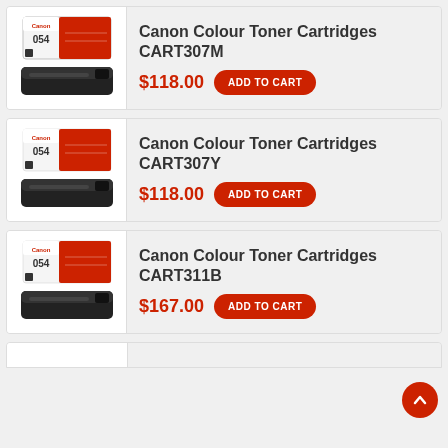[Figure (photo): Canon 054 colour toner cartridge product image showing box and cartridge]
Canon Colour Toner Cartridges CART307M
$118.00  ADD TO CART
[Figure (photo): Canon 054 colour toner cartridge product image showing box and cartridge]
Canon Colour Toner Cartridges CART307Y
$118.00  ADD TO CART
[Figure (photo): Canon 054 colour toner cartridge product image showing box and cartridge]
Canon Colour Toner Cartridges CART311B
$167.00  ADD TO CART